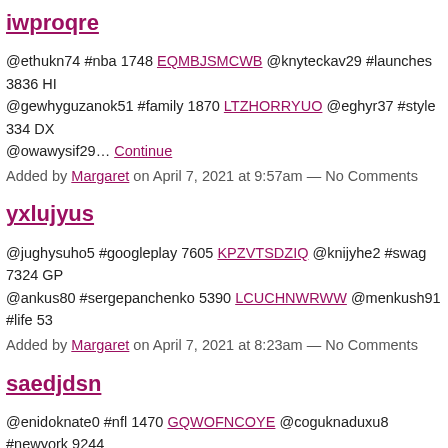iwproqre
@ethukn74 #nba 1748 EQMBJSMCWB @knyteckav29 #launches 3836 HI @gewhyguzanok51 #family 1870 LTZHORRYUO @eghyr37 #style 334 DX @owawysif29… Continue
Added by Margaret on April 7, 2021 at 9:57am — No Comments
yxlujyus
@jughysuho5 #googleplay 7605 KPZVTSDZIQ @knijyhe2 #swag 7324 GP @ankus80 #sergepanchenko 5390 LCUCHNWRWW @menkush91 #life 53
Added by Margaret on April 7, 2021 at 8:23am — No Comments
saedjdsn
@enidoknate0 #nfl 1470 GQWOFNCOYE @coguknaduxu8 #newyork 9244 @yvengishary40 #slc 1755 SAXSTIEWYS @ruvajeju3 #beautiful 407… Co
Added by Margaret on April 7, 2021 at 4:13am — No Comments
zpzqmlyu
@ngypabozaqu59 #health 6567 LYXSDXQMOW @mutugh15 #usamap 72 @etexohoss92 #TFLers 5933… Continue
Added by Margaret on April 7, 2021 at 1:18am — No Comments
nfinztoh